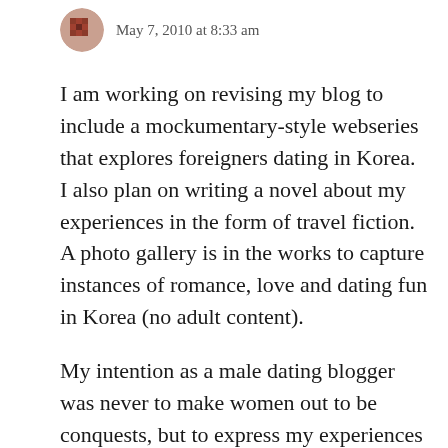[Figure (illustration): Small pixelated avatar image, partially visible, brownish/reddish tones, in a circular frame]
May 7, 2010 at 8:33 am
I am working on revising my blog to include a mockumentary-style webseries that explores foreigners dating in Korea. I also plan on writing a novel about my experiences in the form of travel fiction. A photo gallery is in the works to capture instances of romance, love and dating fun in Korea (no adult content).
My intention as a male dating blogger was never to make women out to be conquests, but to express my experiences in the dating scene without